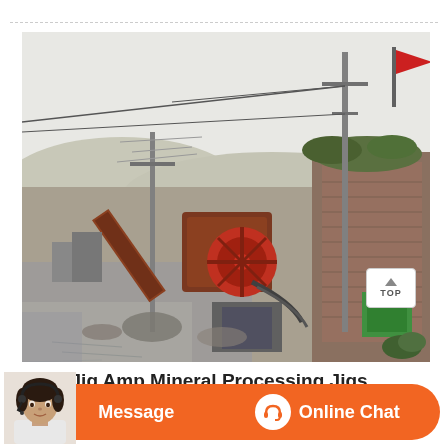[Figure (photo): Outdoor industrial mining/crushing plant facility. Heavy machinery including crushers, conveyor belts, and processing equipment visible in a quarry or mine site. Buildings made of brick on the right side. A red flag on a pole in the upper right. Power lines and poles visible. Hilly terrain in the background.]
Gold Jig Amp Mineral Processing Jigs
[Figure (screenshot): Orange chat bar at bottom with 'Message' on left and 'Online Chat' on right, with a headset icon. A customer service avatar/photo of a woman wearing a headset is overlaid on the left side.]